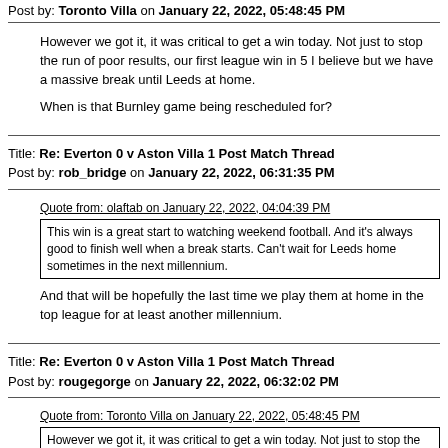Post by: Toronto Villa on January 22, 2022, 05:48:45 PM
However we got it, it was critical to get a win today. Not just to stop the run of poor results, our first league win in 5 I believe but we have a massive break until Leeds at home.

When is that Burnley game being rescheduled for?
Title: Re: Everton 0 v Aston Villa 1 Post Match Thread
Post by: rob_bridge on January 22, 2022, 06:31:35 PM
Quote from: olaftab on January 22, 2022, 04:04:39 PM
[quoted] This win is a great start to watching weekend football. And it's always good to finish well when a break starts. Can't wait for Leeds home sometimes in the next millennium.
And that will be hopefully the last time we play them at home in the top league for at least another millennium.
Title: Re: Everton 0 v Aston Villa 1 Post Match Thread
Post by: rougegorge on January 22, 2022, 06:32:02 PM
Quote from: Toronto Villa on January 22, 2022, 05:48:45 PM
[quoted] However we got it, it was critical to get a win today. Not just to stop the run of poor results, our first league win in 5 I believe but we have a massive break until Leeds at home.
When is that Burnley game being rescheduled for?
Not seen a date. It seems barmy not to be rearranging